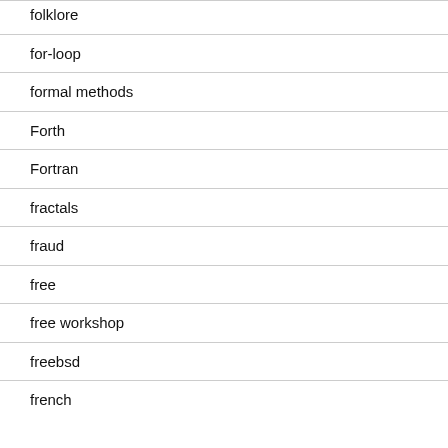folklore
for-loop
formal methods
Forth
Fortran
fractals
fraud
free
free workshop
freebsd
french